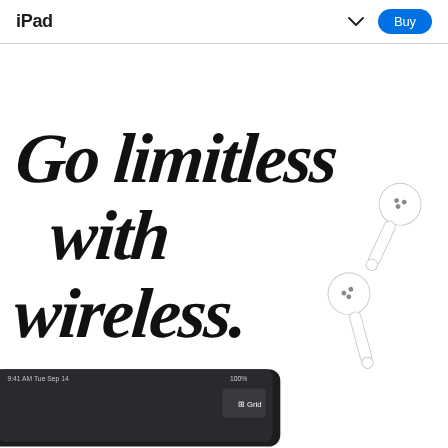iPad
[Figure (illustration): Apple iPad promotional page with handwritten-style text 'Go limitless with wireless.' in bold black brush script, AirPods (white wireless earbuds) visible on the right side, and the top edge of a dark iPad tablet at the bottom. Navigation bar at top shows 'iPad' brand name on left, a chevron/dropdown icon and blue 'Buy' button on the right.]